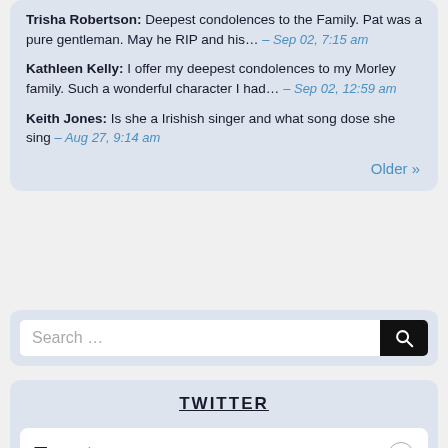Trisha Robertson: Deepest condolences to the Family. Pat was a pure gentleman. May he RIP and his... – Sep 02, 7:15 am
Kathleen Kelly: I offer my deepest condolences to my Morley family. Such a wonderful character I had... – Sep 02, 12:59 am
Keith Jones: Is she a Irishish singer and what song dose she sing – Aug 27, 9:14 am
Older »
Search ...
TWITTER
Tweets liked by @millstreet_town